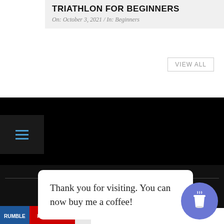TRIATHLON FOR BEGINNERS
On: October 3, 2021 / In: Beginners
VIEW ALL
[Figure (infographic): Hamburger menu button with three horizontal blue lines on dark background]
SOCIAL
[Figure (infographic): Social media icons: Instagram, Twitter, Facebook in blue]
Thank you for visiting. You can now buy me a coffee!
[Figure (infographic): Purple circle with coffee cup icon - Buy Me a Coffee widget]
Rumble  YouTube  1K